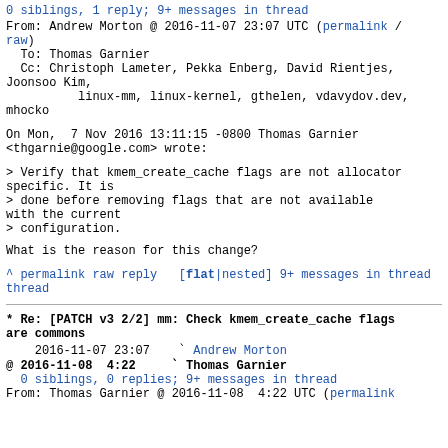0 siblings, 1 reply; 9+ messages in thread
From: Andrew Morton @ 2016-11-07 23:07 UTC (permalink / raw)
  To: Thomas Garnier
  Cc: Christoph Lameter, Pekka Enberg, David Rientjes, Joonsoo Kim,
          linux-mm, linux-kernel, gthelen, vdavydov.dev, mhocko
On Mon,  7 Nov 2016 13:11:15 -0800 Thomas Garnier <thgarnie@google.com> wrote:
> Verify that kmem_create_cache flags are not allocator specific. It is
> done before removing flags that are not available with the current
> configuration.
What is the reason for this change?
^ permalink raw reply   [flat|nested] 9+ messages in thread
* Re: [PATCH v3 2/2] mm: Check kmem_create_cache flags are commons
    2016-11-07 23:07   ` Andrew Morton
@ 2016-11-08  4:22     ` Thomas Garnier
  0 siblings, 0 replies; 9+ messages in thread
From: Thomas Garnier @ 2016-11-08  4:22 UTC (permalink